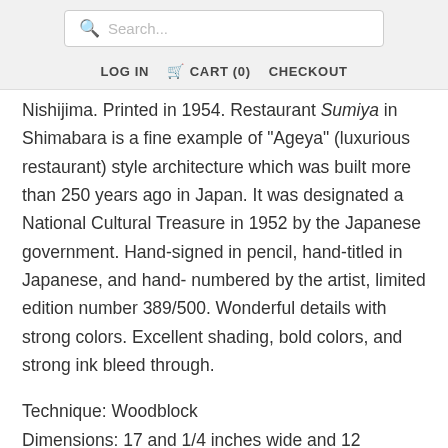Search...
LOG IN   CART (0)   CHECKOUT
Nishijima. Printed in 1954. Restaurant Sumiya in Shimabara is a fine example of "Ageya" (luxurious restaurant) style architecture which was built more than 250 years ago in Japan. It was designated a National Cultural Treasure in 1952 by the Japanese government. Hand-signed in pencil, hand-titled in Japanese, and hand-numbered by the artist, limited edition number 389/500. Wonderful details with strong colors. Excellent shading, bold colors, and strong ink bleed through.
Technique: Woodblock
Dimensions: 17 and 1/4 inches wide and 12...